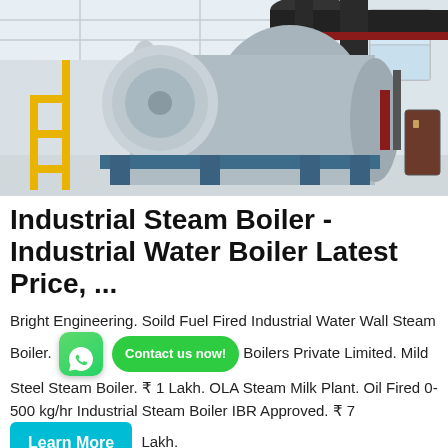[Figure (photo): Industrial steam boiler installation inside a factory building. Large cylindrical grey boiler with blue metal supports, yellow piping on the left, ladders, and black ductwork overhead.]
Industrial Steam Boiler - Industrial Water Boiler Latest Price, ...
Bright Engineering. Soild Fuel Fired Industrial Water Wall Steam Boiler. [WhatsApp icon] [Contact us now! button] Boilers Private Limited. Mild Steel Steam Boiler. ₹ 1 Lakh. OLA Steam Milk Plant. Oil Fired 0-500 kg/hr Industrial Steam Boiler IBR Approved. ₹ 7 [Learn More button] Lakh.